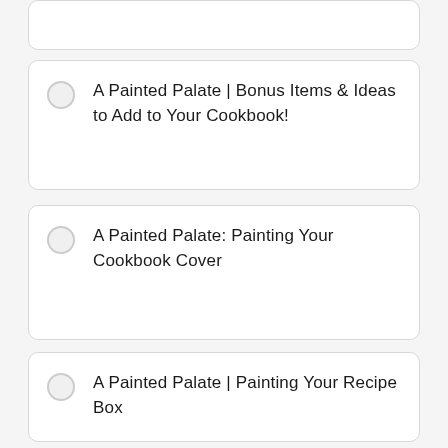A Painted Palate | Bonus Items & Ideas to Add to Your Cookbook!
A Painted Palate: Painting Your Cookbook Cover
A Painted Palate | Painting Your Recipe Box
A Painted Palate | Creating Tabs & Dividers